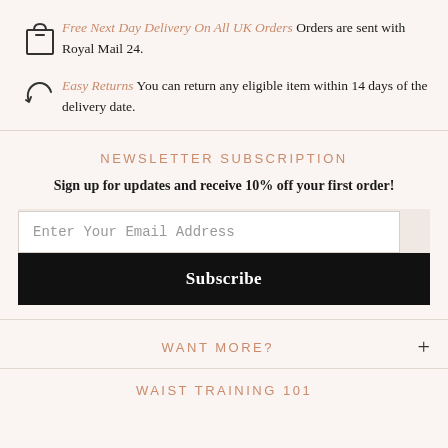Free Next Day Delivery On All UK Orders Orders are sent with Royal Mail 24.
Easy Returns You can return any eligible item within 14 days of the delivery date.
NEWSLETTER SUBSCRIPTION
Sign up for updates and receive 10% off your first order!
Enter Your Email Address
Subscribe
WANT MORE?
WAIST TRAINING 101